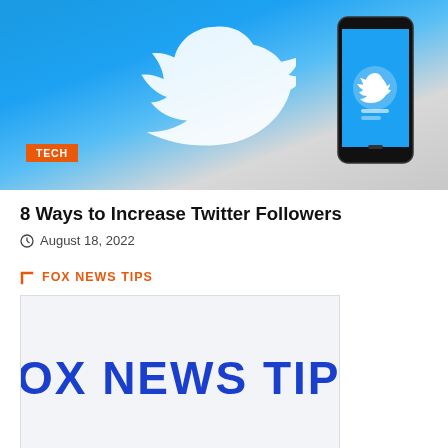[Figure (photo): Twitter logo and smartphone with Twitter app displayed on blue background with notebook, labeled with TECH badge]
8 Ways to Increase Twitter Followers
August 18, 2022
FOX NEWS TIPS
[Figure (logo): Fox News Tips logo — bold blue text reading FOX NEWS TIPS on light gray background]